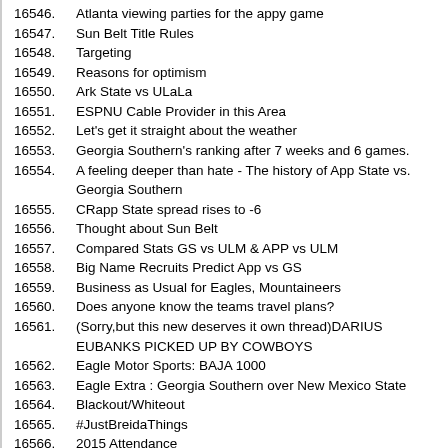16546. Atlanta viewing parties for the appy game
16547. Sun Belt Title Rules
16548. Targeting
16549. Reasons for optimism
16550. Ark State vs ULaLa
16551. ESPNU Cable Provider in this Area
16552. Let's get it straight about the weather
16553. Georgia Southern's ranking after 7 weeks and 6 games.
16554. A feeling deeper than hate - The history of App State vs. Georgia Southern
16555. CRapp State spread rises to -6
16556. Thought about Sun Belt
16557. Compared Stats GS vs ULM & APP vs ULM
16558. Big Name Recruits Predict App vs GS
16559. Business as Usual for Eagles, Mountaineers
16560. Does anyone know the teams travel plans?
16561. (Sorry,but this new deserves it own thread)DARIUS EUBANKS PICKED UP BY COWBOYS
16562. Eagle Motor Sports: BAJA 1000
16563. Eagle Extra : Georgia Southern over New Mexico State
16564. Blackout/Whiteout
16565. #JustBreidaThings
16566. 2015 Attendance
16567. 2014 App State at Georgia Southern Quick-Cut
16568. Alan Tyson on AppSt game
16569. Beautiful Eagle Creek Water
16570. Sun Belt MBB Preseason Coaches Poll
16571. Erk: The Movie
16572. Week 8 Picksheet
16573. Wh...